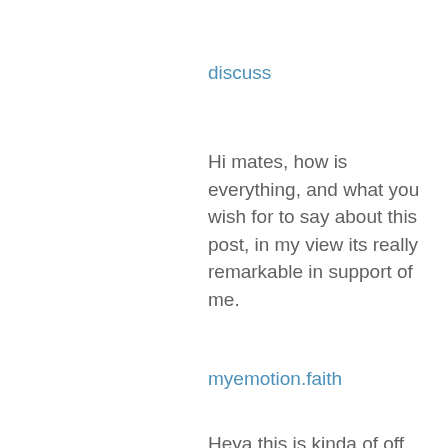discuss
Hi mates, how is everything, and what you wish for to say about this post, in my view its really remarkable in support of me.
myemotion.faith
Heya this is kinda of off topic but I was wondering if blogs use WYSIWYG editors or if you have to manually code with HTML. I'm starting a blog soon but have no coding experience so I wanted to get advice